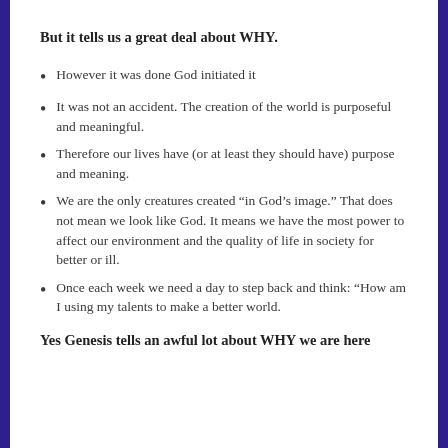But it tells us a great deal about WHY.
However it was done God initiated it
It was not an accident. The creation of the world is purposeful and meaningful.
Therefore our lives have (or at least they should have) purpose and meaning.
We are the only creatures created “in God’s image.” That does not mean we look like God. It means we have the most power to affect our environment and the quality of life in society for better or ill.
Once each week we need a day to step back and think: “How am I using my talents to make a better world.
Yes Genesis tells an awful lot about WHY we are here